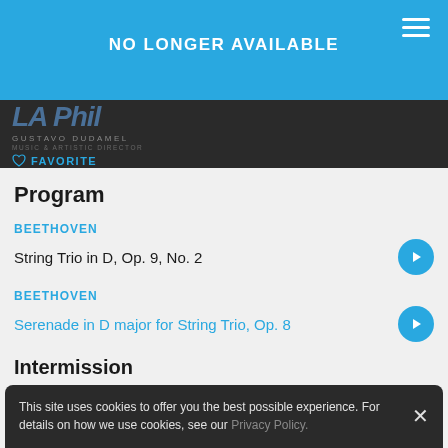NO LONGER AVAILABLE
[Figure (logo): LA Phil logo with Gustavo Dudamel Music & Artistic Director text and Favorite button]
Program
BEETHOVEN
String Trio in D, Op. 9, No. 2
BEETHOVEN
Serenade in D major for String Trio, Op. 8
Intermission
BEETHOVEN
This site uses cookies to offer you the best possible experience. For details on how we use cookies, see our Privacy Policy.